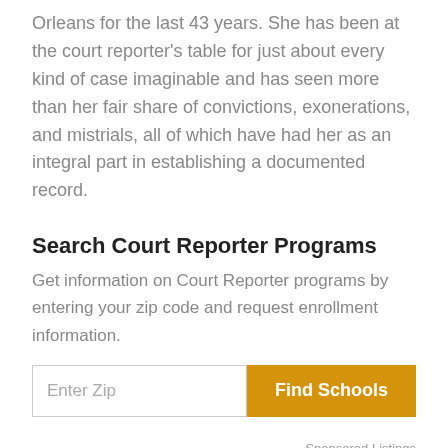Orleans for the last 43 years. She has been at the court reporter's table for just about every kind of case imaginable and has seen more than her fair share of convictions, exonerations, and mistrials, all of which have had her as an integral part in establishing a documented record.
Search Court Reporter Programs
Get information on Court Reporter programs by entering your zip code and request enrollment information.
Enter Zip | Find Schools
Sponsored Listings
Featured Programs: